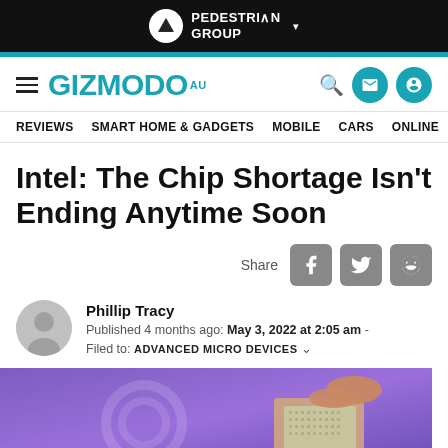PEDESTRIAN GROUP
GIZMODO AU | REVIEWS | SMART HOME & GADGETS | MOBILE | CARS | ONLINE
Intel: The Chip Shortage Isn't Ending Anytime Soon
Share
Phillip Tracy
Published 4 months ago: May 3, 2022 at 2:05 am - Filed to: ADVANCED MICRO DEVICES
[Figure (photo): A hand holding an Intel/AMD chip against a purple glowing background]